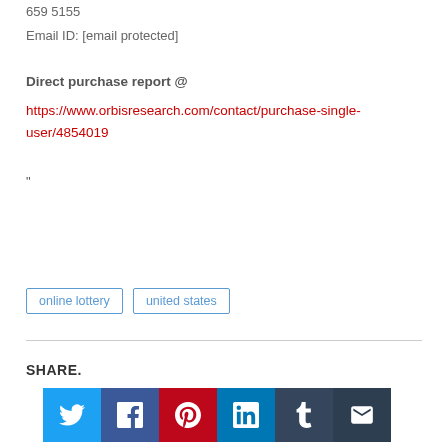659 5155
Email ID: [email protected]
Direct purchase report @
https://www.orbisresearch.com/contact/purchase-single-user/4854019
"
online lottery
united states
SHARE.